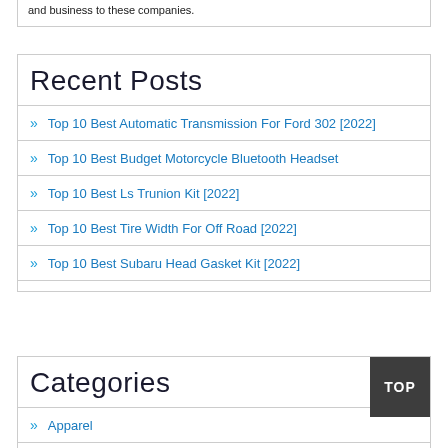and business to these companies.
Recent Posts
Top 10 Best Automatic Transmission For Ford 302 [2022]
Top 10 Best Budget Motorcycle Bluetooth Headset
Top 10 Best Ls Trunion Kit [2022]
Top 10 Best Tire Width For Off Road [2022]
Top 10 Best Subaru Head Gasket Kit [2022]
Categories
Apparel
Automotive Parts And Accessories